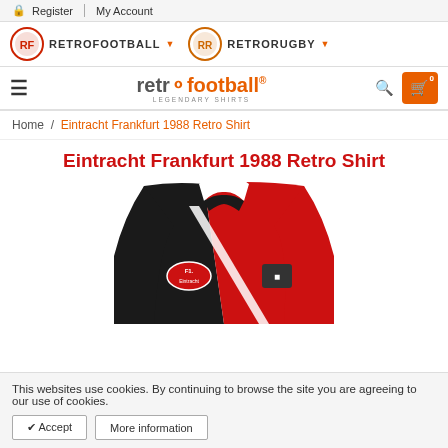🔒 Register | My Account
[Figure (logo): RetroFootball and RetroRugby logos in header bar]
retrofootball® legendary shirts — navigation bar with hamburger, brand logo, search and cart icons
Home / Eintracht Frankfurt 1988 Retro Shirt
Eintracht Frankfurt 1988 Retro Shirt
[Figure (photo): Eintracht Frankfurt 1988 retro shirt — red and black halved jersey with white V-collar and sponsor logos]
This websites use cookies. By continuing to browse the site you are agreeing to our use of cookies.
✔ Accept   More information